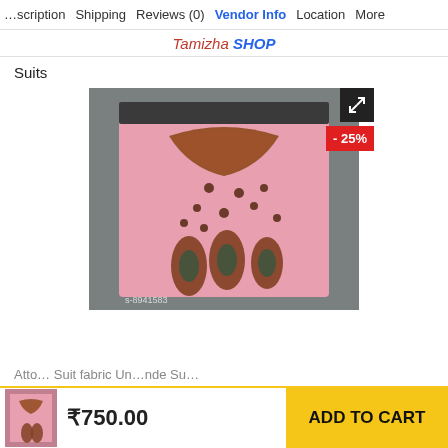scription  Shipping  Reviews (0)  Vendor Info  Location  More
Tamizha SHOP
Suits
[Figure (photo): Pink embroidered suit fabric with intricate gold/brown beadwork necklace design and paisley motifs, laid on grey fabric background. Watermark: s-8941583]
- 25%
₹750.00
ADD TO CART